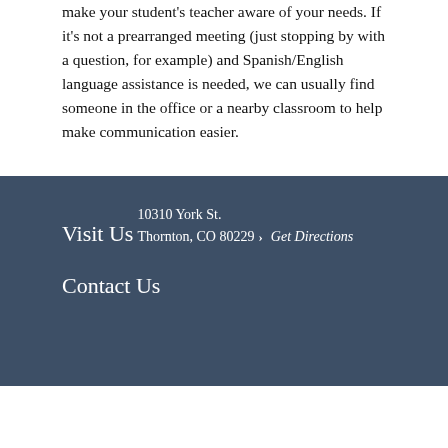make your student's teacher aware of your needs. If it's not a prearranged meeting (just stopping by with a question, for example) and Spanish/English language assistance is needed, we can usually find someone in the office or a nearby classroom to help make communication easier.
Visit Us
10310 York St.
Thornton, CO 80229
> Get Directions
Contact Us